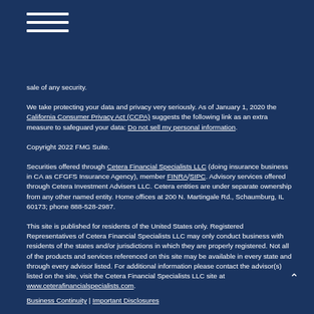[Figure (other): Hamburger menu icon with three horizontal white lines on dark blue background]
sale of any security.
We take protecting your data and privacy very seriously. As of January 1, 2020 the California Consumer Privacy Act (CCPA) suggests the following link as an extra measure to safeguard your data: Do not sell my personal information.
Copyright 2022 FMG Suite.
Securities offered through Cetera Financial Specialists LLC (doing insurance business in CA as CFGFS Insurance Agency), member FINRA/SIPC. Advisory services offered through Cetera Investment Advisers LLC. Cetera entities are under separate ownership from any other named entity. Home offices at 200 N. Martingale Rd., Schaumburg, IL 60173; phone 888-528-2987.
This site is published for residents of the United States only. Registered Representatives of Cetera Financial Specialists LLC may only conduct business with residents of the states and/or jurisdictions in which they are properly registered. Not all of the products and services referenced on this site may be available in every state and through every advisor listed. For additional information please contact the advisor(s) listed on the site, visit the Cetera Financial Specialists LLC site at www.ceterafinancialspecialists.com.
Business Continuity | Important Disclosures